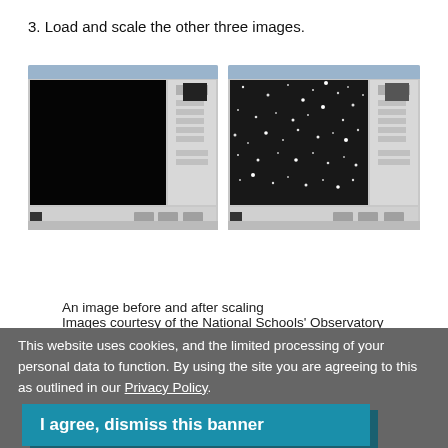3. Load and scale the other three images.
[Figure (screenshot): Two screenshots of an astronomy image software window side by side with a blue arrow between them. Left screenshot shows a nearly all-black image (before scaling), right screenshot shows the same image after scaling with visible stars.]
An image before and after scaling
Images courtesy of the National Schools' Observatory
This website uses cookies, and the limited processing of your personal data to function. By using the site you are agreeing to this as outlined in our Privacy Policy.
I agree, dismiss this banner